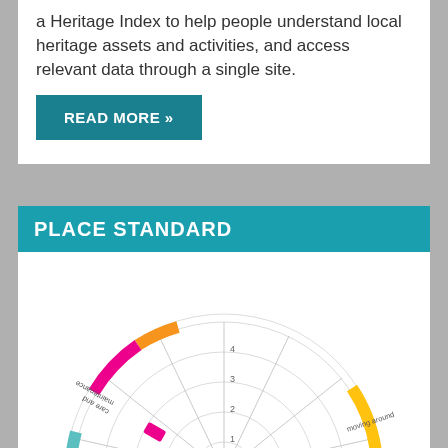a Heritage Index to help people understand local heritage assets and activities, and access relevant data through a single site.
READ MORE »
PLACE STANDARD
[Figure (radar-chart): A radar/spider chart for Place Standard, showing multiple axes including care and maintenance, influence and sense of control, social interaction, housing, play and recreation, moving around, and others. Axes are labeled 1-4. Various colored segments appear around the outer ring indicating different categories.]